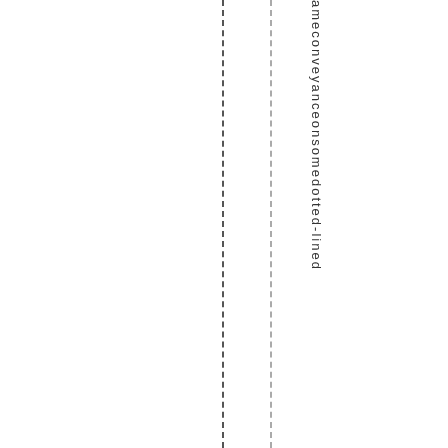ameconveyanceonsomedotted-lined